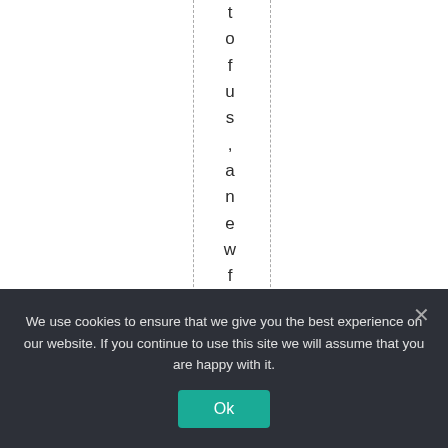t o f u s , a n e w f i a t c u r r
We use cookies to ensure that we give you the best experience on our website. If you continue to use this site we will assume that you are happy with it.